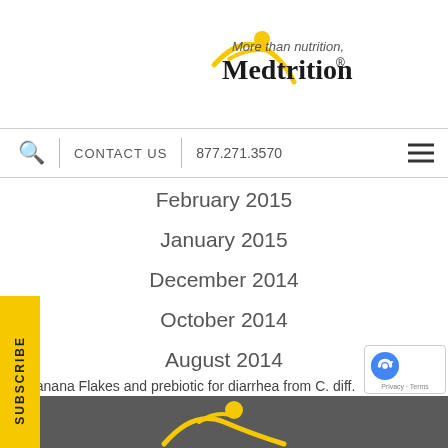[Figure (logo): Medtrition logo with tagline 'More than nutrition, Medtrition®' and stylized yellow figure]
🔍  CONTACT US  |  877.271.3570
February 2015
January 2015
December 2014
October 2014
August 2014
‹  Banana Flakes and prebiotic for diarrhea from C. diff.
The Bold New Shape of Purees  ›
[Figure (logo): Medtrition yellow icon/logo partial at bottom footer]